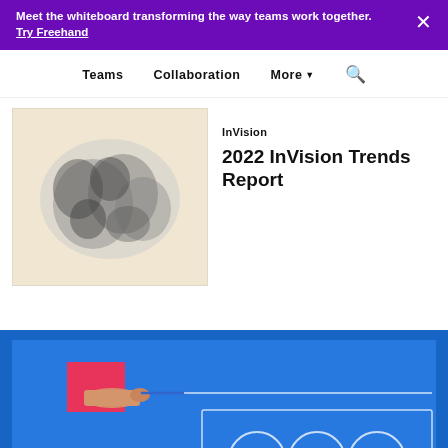Meet the whiteboard transforming the way teams work together. Try Freehand
Teams   Collaboration   More   Search
InVision
2022 InVision Trends Report
[Figure (photo): Black and white blurred photograph of people]
[Figure (photo): Blue background with a pink rectangle, a hand holding a pen drawing white geometric lines and shapes including rectangles and circles — InVision Freehand product image]